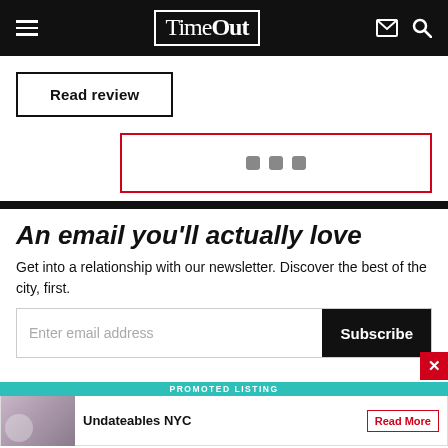TimeOut
Read review
[Figure (screenshot): Loading spinner area with three grey rounded square dots inside a red-bordered rectangle]
An email you'll actually love
Get into a relationship with our newsletter. Discover the best of the city, first.
Enter email address  Subscribe
PROMOTED LISTING
Undateables NYC  Read More